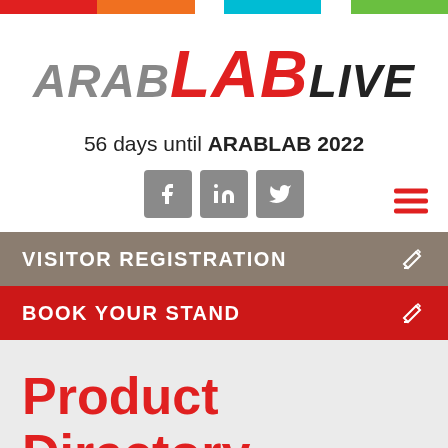[Figure (other): Horizontal color bar at top: red, orange, white gap, cyan, white gap, green]
[Figure (logo): ArabLab Live logo: ARAB in gray italic, LAB in red italic bold large, LIVE in black italic]
56 days until ARABLAB 2022
[Figure (other): Social media icons: Facebook, LinkedIn, Twitter (gray rounded square buttons), hamburger menu icon in red on right]
VISITOR REGISTRATION
BOOK YOUR STAND
Product Directory